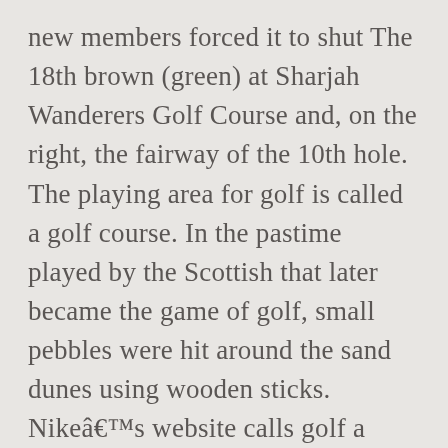new members forced it to shut The 18th brown (green) at Sharjah Wanderers Golf Course and, on the right, the fairway of the 10th hole. The playing area for golf is called a golf course. In the pastime played by the Scottish that later became the game of golf, small pebbles were hit around the sand dunes using wooden sticks. Nikeâ€™s website calls golf a â€œgreat sportâ€ and makes products to help â€œathletes to perform at their physical and mental peak.â€ [] Golfer Tiger Woods is the richest athlete in history and was the first athlete to surpass one billion dollars in career earnings (prize money and endorsements). Although Musselburgh Links